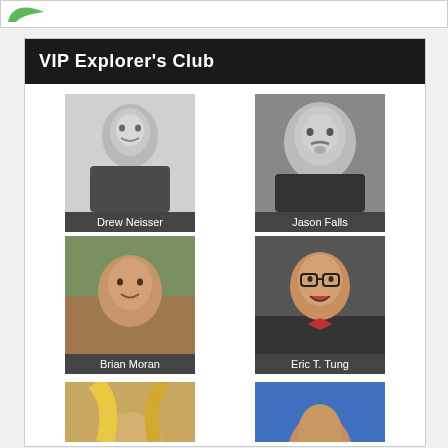[Figure (logo): Green leaf/arrow logo at top]
VIP Explorer's Club
[Figure (photo): Headshot of Drew Neisser, black and white photo of smiling man in suit]
Drew Neisser
[Figure (photo): Headshot of Jason Falls, man with goatee]
Jason Falls
[Figure (photo): Headshot of Brian Moran, smiling man]
Brian Moran
[Figure (photo): Headshot of Eric T. Tung, man with glasses and red bow tie making expressive face]
Eric T. Tung
[Figure (photo): Partial headshot of woman with blonde hair]
[Figure (photo): Partial headshot of man against blue background]